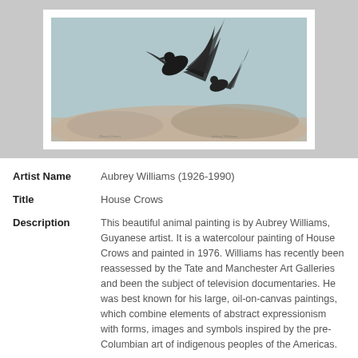[Figure (photo): Watercolour painting of House Crows by Aubrey Williams (1976), showing dark birds with flowing tail feathers over a muted landscape background. The painting has a signature area at the bottom.]
| Artist Name | Aubrey Williams (1926-1990) |
| Title | House Crows |
| Description | This beautiful animal painting is by Aubrey Williams, Guyanese artist. It is a watercolour painting of House Crows and painted in 1976. Williams has recently been reassessed by the Tate and Manchester Art Galleries and been the subject of television documentaries. He was best known for his large, oil-on-canvas paintings, which combine elements of abstract expressionism with forms, images and symbols inspired by the pre-Columbian art of indigenous peoples of the Americas.

The house crow, also known as the Indian, greynecked, Ceylon or Colombo crow, is a common bird of the crow family that is of Asian |